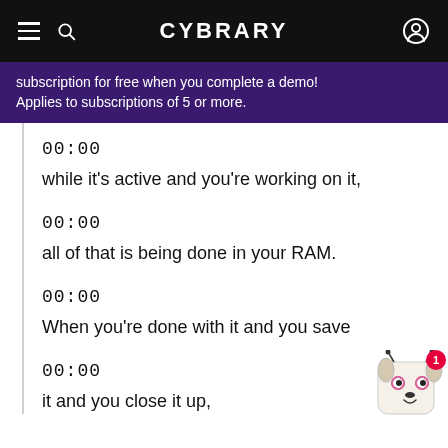CYBRARY
subscription for free when you complete a demo! Applies to subscriptions of 5 or more.
00:00
while it's active and you're working on it,
00:00
all of that is being done in your RAM.
00:00
When you're done with it and you save
00:00
it and you close it up,
[Figure (illustration): Chat widget showing a cartoon dog face with a red notification badge showing the number 1]